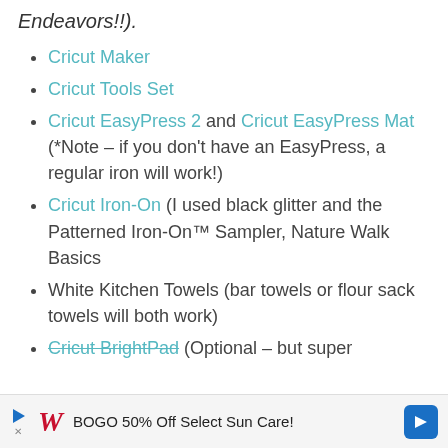Endeavors!!).
Cricut Maker
Cricut Tools Set
Cricut EasyPress 2 and Cricut EasyPress Mat (*Note – if you don't have an EasyPress, a regular iron will work!)
Cricut Iron-On (I used black glitter and the Patterned Iron-On™ Sampler, Nature Walk Basics
White Kitchen Towels (bar towels or flour sack towels will both work)
Cricut BrightPad (Optional – but super
BOGO 50% Off Select Sun Care!